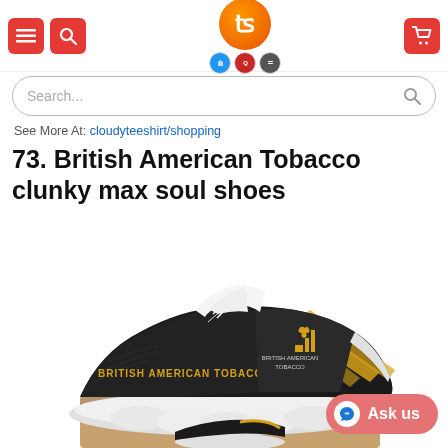Header with menu, search, and logo navigation
See More At: cloudyteeshirt/shopping
73. British American Tobacco clunky max soul shoes
[Figure (photo): A black and gold clunky max soul sneaker with 'BRITISH AMERICAN TOBACCO' text in gold on the side, featuring diagonal gold stripes, white laces, and a white chunky sole. The shoe sits on top of a brown box with a partial view of another shoe below.]
Ask us